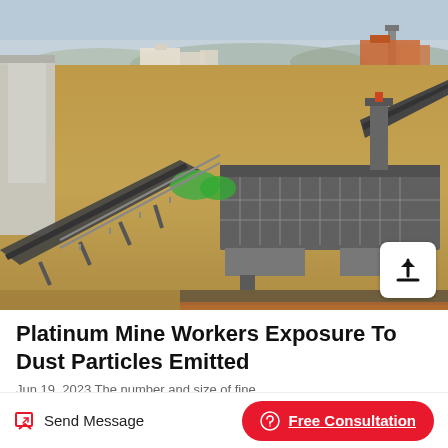[Figure (photo): Aerial view of a platinum mine processing facility showing conveyor belts, mechanical screens/separators, and industrial equipment on dry sandy terrain, with mining buildings and trees visible in the background]
Platinum Mine Workers Exposure To Dust Particles Emitted
Jun 19, 2023 The number and size of fine...
Send Message
Free Consultation